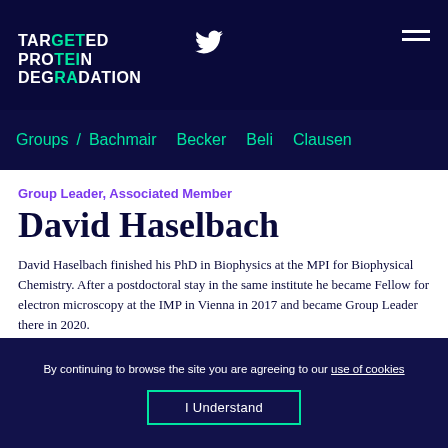TARGETED PROTEIN DEGRADATION
Groups / Bachmair   Becker   Beli   Clausen
Group Leader, Associated Member
David Haselbach
David Haselbach finished his PhD in Biophysics at the MPI for Biophysical Chemistry. After a postdoctoral stay in the same institute he became Fellow for electron microscopy at the IMP in Vienna in 2017 and became Group Leader there in 2020.
By continuing to browse the site you are agreeing to our use of cookies
I Understand